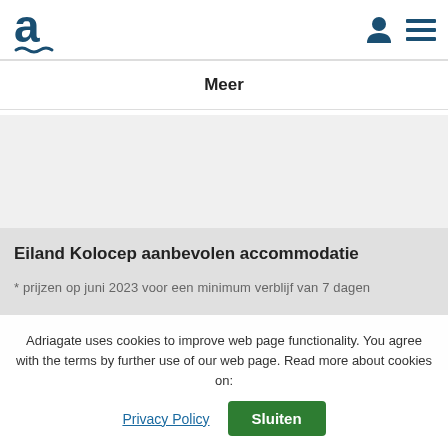Adriagate logo, user icon, hamburger menu
Meer
Eiland Kolocep aanbevolen accommodatie
* prijzen op juni 2023 voor een minimum verblijf van 7 dagen
Adriagate uses cookies to improve web page functionality. You agree with the terms by further use of our web page. Read more about cookies on:
Privacy Policy
Sluiten